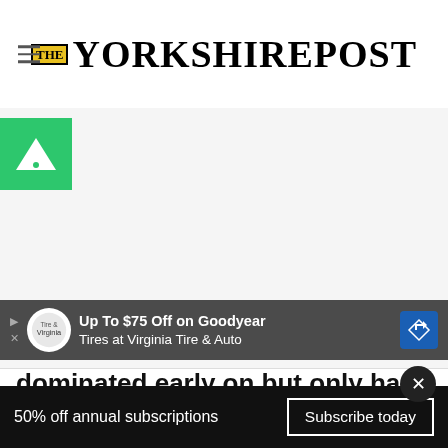THE YORKSHIRE POST
[Figure (other): Advertisement placeholder area with Adform logo (green triangle icon) in top left corner]
[Figure (other): Banner advertisement: Up To $75 Off on Goodyear Tires at Virginia Tire & Auto]
dominated early on but only had Chris Brandon’s 22nd-minute opener to show for their efforts as half-time approached. Paul Ha... ...ng many of the chances created by the hosts and
50% off annual subscriptions  Subscribe today